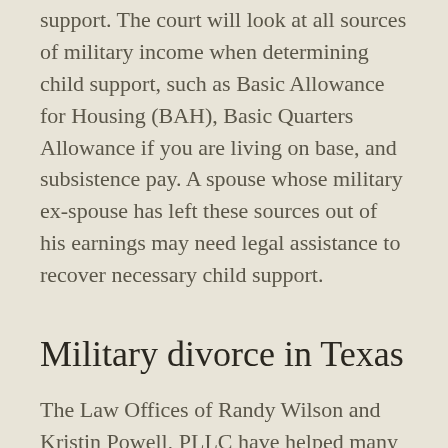support. The court will look at all sources of military income when determining child support, such as Basic Allowance for Housing (BAH), Basic Quarters Allowance if you are living on base, and subsistence pay. A spouse whose military ex-spouse has left these sources out of his earnings may need legal assistance to recover necessary child support.
Military divorce in Texas
The Law Offices of Randy Wilson and Kristin Powell, PLLC have helped many military service members from around the world who face legal struggles here in the United States. Our attorneys lend their expertise to the